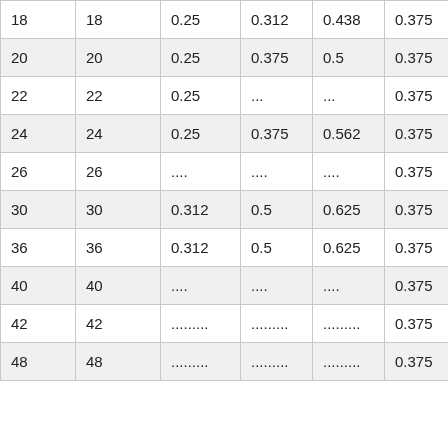| 18 | 18 | 0.25 | 0.312 | 0.438 | 0.375 |
| 20 | 20 | 0.25 | 0.375 | 0.5 | 0.375 |
| 22 | 22 | 0.25 | ... | ... | 0.375 |
| 24 | 24 | 0.25 | 0.375 | 0.562 | 0.375 |
| 26 | 26 | .... | .... | .... | 0.375 |
| 30 | 30 | 0.312 | 0.5 | 0.625 | 0.375 |
| 36 | 36 | 0.312 | 0.5 | 0.625 | 0.375 |
| 40 | 40 | .... | .... | .... | 0.375 |
| 42 | 42 | ......... | ......... | ......... | 0.375 |
| 48 | 48 | ......... | ......... | ......... | 0.375 |